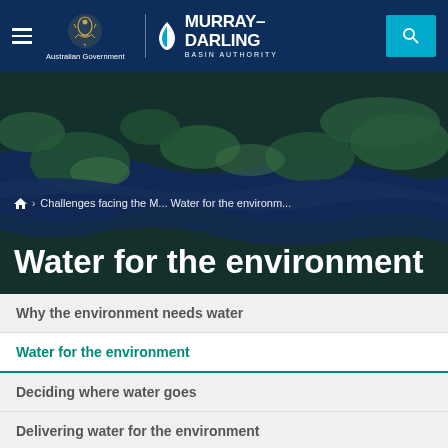Australian Government | Murray-Darling Basin Authority
[Figure (photo): Aerial view of Murray-Darling Basin wetlands with river channels, green vegetation and dark blue water]
Home > Challenges facing the M... Water for the environm...
Water for the environment
Why the environment needs water
Water for the environment
Deciding where water goes
Delivering water for the environment
Progress and outcomes